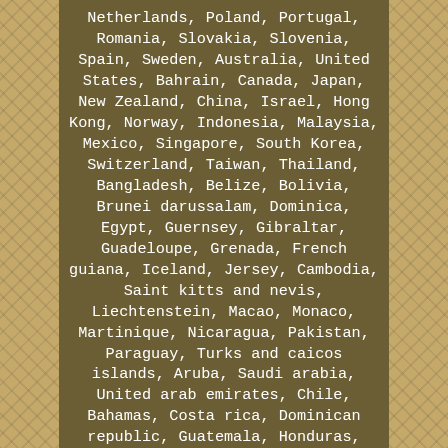Netherlands, Poland, Portugal, Romania, Slovakia, Slovenia, Spain, Sweden, Australia, United States, Bahrain, Canada, Japan, New Zealand, China, Israel, Hong Kong, Norway, Indonesia, Malaysia, Mexico, Singapore, South Korea, Switzerland, Taiwan, Thailand, Bangladesh, Belize, Bolivia, Brunei darussalam, Dominica, Egypt, Guernsey, Gibraltar, Guadeloupe, Grenada, French guiana, Iceland, Jersey, Cambodia, Saint kitts and nevis, Liechtenstein, Macao, Monaco, Martinique, Nicaragua, Pakistan, Paraguay, Turks and caicos islands, Aruba, Saudi arabia, United arab emirates, Chile, Bahamas, Costa rica, Dominican republic, Guatemala, Honduras, Jamaica, Kuwait, Panama, Philippines, Qatar, El salvador, Trinidad and tobago, Uruguay, Antigua and barbuda, Bermuda,